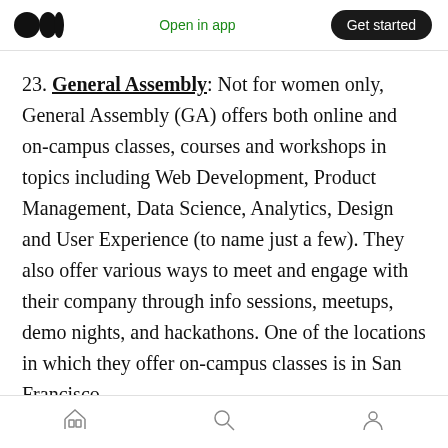Open in app  Get started
23. General Assembly: Not for women only, General Assembly (GA) offers both online and on-campus classes, courses and workshops in topics including Web Development, Product Management, Data Science, Analytics, Design and User Experience (to name just a few). They also offer various ways to meet and engage with their company through info sessions, meetups, demo nights, and hackathons. One of the locations in which they offer on-campus classes is in San Francisco.
Home  Search  Profile